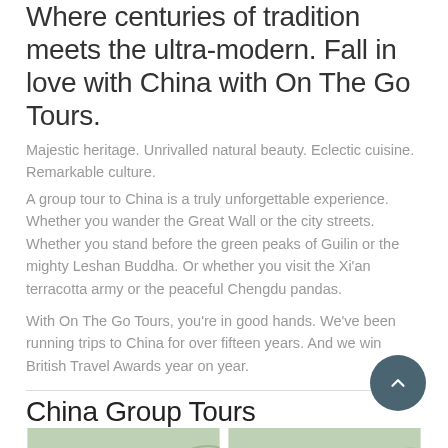Where centuries of tradition meets the ultra-modern. Fall in love with China with On The Go Tours.
Majestic heritage. Unrivalled natural beauty. Eclectic cuisine. Remarkable culture.
A group tour to China is a truly unforgettable experience. Whether you wander the Great Wall or the city streets. Whether you stand before the green peaks of Guilin or the mighty Leshan Buddha. Or whether you visit the Xi'an terracotta army or the peaceful Chengdu pandas.
With On The Go Tours, you're in good hands. We've been running trips to China for over fifteen years. And we win British Travel Awards year on year.
China Group Tours
Signature Range
Signature Range